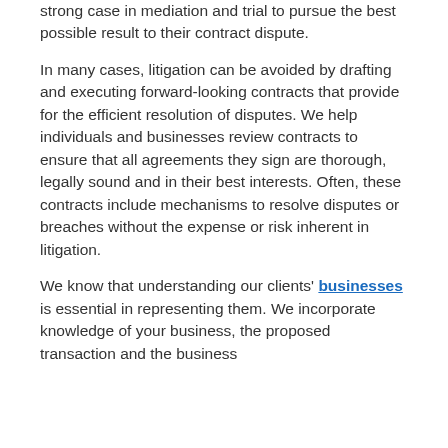strong case in mediation and trial to pursue the best possible result to their contract dispute.
In many cases, litigation can be avoided by drafting and executing forward-looking contracts that provide for the efficient resolution of disputes. We help individuals and businesses review contracts to ensure that all agreements they sign are thorough, legally sound and in their best interests. Often, these contracts include mechanisms to resolve disputes or breaches without the expense or risk inherent in litigation.
We know that understanding our clients' businesses is essential in representing them. We incorporate knowledge of your business, the proposed transaction and the business...